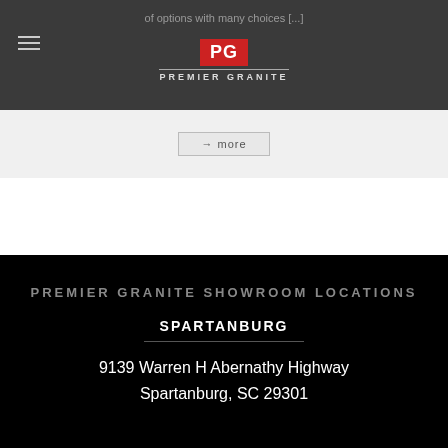of options with many choices [...]
[Figure (logo): Premier Granite logo — red PG letters on red background, horizontal rule, PREMIER GRANITE text]
→ more
PREMIER GRANITE SHOWROOM LOCATIONS
SPARTANBURG
9139 Warren H Abernathy Highway
Spartanburg, SC 29301